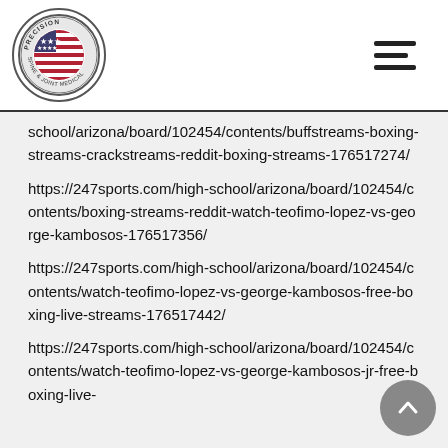Precision Spine & Joint Medical [logo] [hamburger menu]
school/arizona/board/102454/contents/buffstreams-boxing-streams-crackstreams-reddit-boxing-streams-176517274/
https://247sports.com/high-school/arizona/board/102454/contents/boxing-streams-reddit-watch-teofimo-lopez-vs-george-kambosos-176517356/
https://247sports.com/high-school/arizona/board/102454/contents/watch-teofimo-lopez-vs-george-kambosos-free-boxing-live-streams-176517442/
https://247sports.com/high-school/arizona/board/102454/contents/watch-teofimo-lopez-vs-george-kambosos-jr-free-boxing-live-